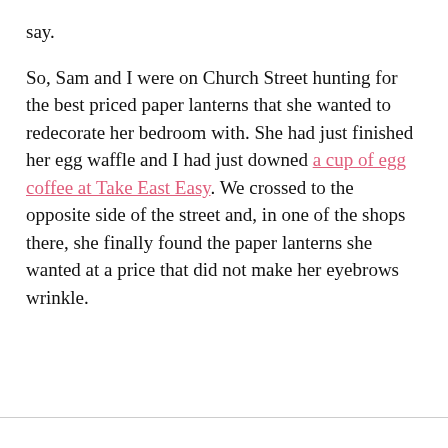say.

So, Sam and I were on Church Street hunting for the best priced paper lanterns that she wanted to redecorate her bedroom with. She had just finished her egg waffle and I had just downed a cup of egg coffee at Take East Easy. We crossed to the opposite side of the street and, in one of the shops there, she finally found the paper lanterns she wanted at a price that did not make her eyebrows wrinkle.